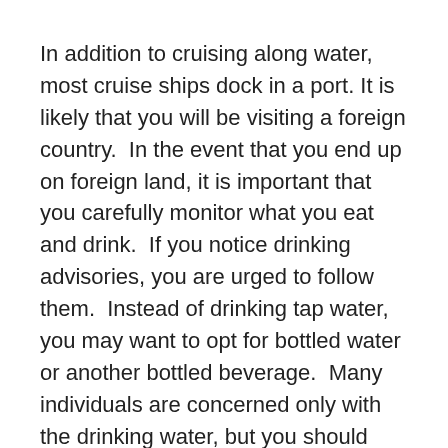In addition to cruising along water, most cruise ships dock in a port. It is likely that you will be visiting a foreign country.  In the event that you end up on foreign land, it is important that you carefully monitor what you eat and drink.  If you notice drinking advisories, you are urged to follow them.  Instead of drinking tap water, you may want to opt for bottled water or another bottled beverage.  Many individuals are concerned only with the drinking water, but you should also be concerned with ice cubes and water in uncooked foods.
As you can see, the above mentioned precautionary measures are simple and easy to follow.  Why put yourself at risk for illness; especially when it